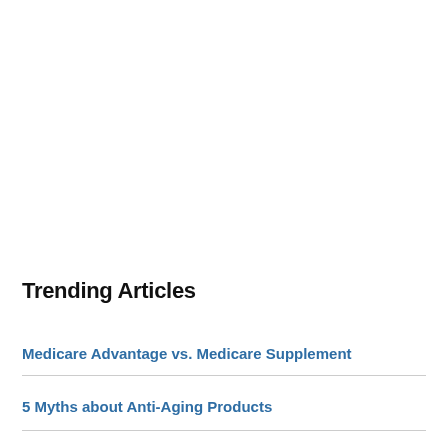Trending Articles
Medicare Advantage vs. Medicare Supplement
5 Myths about Anti-Aging Products